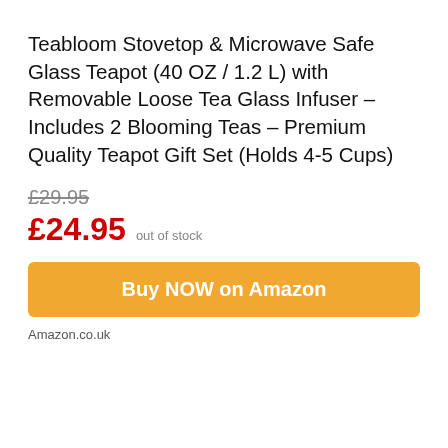Teabloom Stovetop & Microwave Safe Glass Teapot (40 OZ / 1.2 L) with Removable Loose Tea Glass Infuser – Includes 2 Blooming Teas – Premium Quality Teapot Gift Set (Holds 4-5 Cups)
£29.95 (strikethrough) £24.95 out of stock
Buy NOW on Amazon
Amazon.co.uk